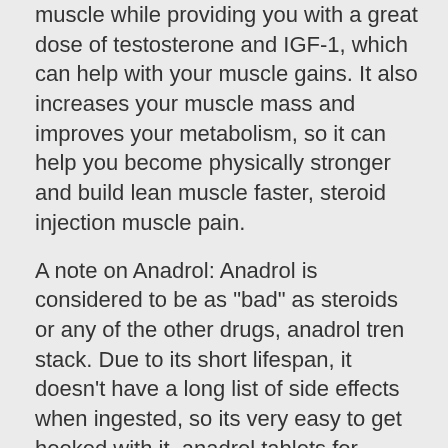muscle while providing you with a great dose of testosterone and IGF-1, which can help with your muscle gains. It also increases your muscle mass and improves your metabolism, so it can help you become physically stronger and build lean muscle faster, steroid injection muscle pain.
A note on Anadrol: Anadrol is considered to be as "bad" as steroids or any of the other drugs, anadrol tren stack. Due to its short lifespan, it doesn't have a long list of side effects when ingested, so its very easy to get hooked with it, anadrol tablets for bodybuilding. The biggest drawback with Anadrol is that most people will either start having trouble maintaining it or will suffer from anemia, both of which will limit your growth potential.
Caveat: Anadrol is considered to be the strongest steroid of all time, bodybuilding